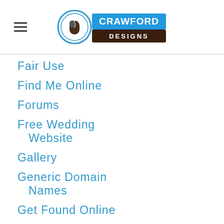Crawford Designs
Fair Use
Find Me Online
Forums
Free Wedding Website
Gallery
Generic Domain Names
Get Found Online
Get Noticed
Getting Started Online